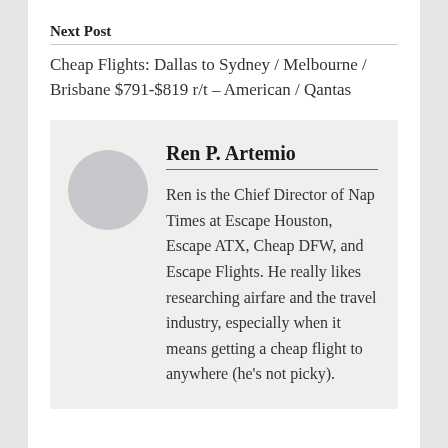Next Post
Cheap Flights: Dallas to Sydney / Melbourne / Brisbane $791-$819 r/t – American / Qantas
Ren P. Artemio
Ren is the Chief Director of Nap Times at Escape Houston, Escape ATX, Cheap DFW, and Escape Flights. He really likes researching airfare and the travel industry, especially when it means getting a cheap flight to anywhere (he's not picky).